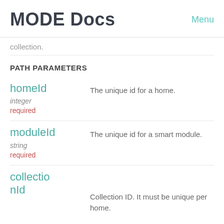MODE Docs  Menu
collection.
PATH PARAMETERS
homeId
integer
required
The unique id for a home.
moduleId
string
required
The unique id for a smart module.
collectionId
Collection ID. It must be unique per home.